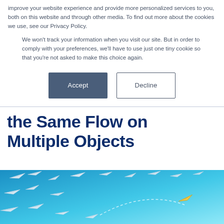improve your website experience and provide more personalized services to you, both on this website and through other media. To find out more about the cookies we use, see our Privacy Policy.
We won't track your information when you visit our site. But in order to comply with your preferences, we'll have to use just one tiny cookie so that you're not asked to make this choice again.
Accept | Decline
the Same Flow on Multiple Objects
[Figure (illustration): Blue gradient background with multiple white paper airplanes flying in different directions, and one golden/yellow paper airplane following a dashed curved path, symbolizing a unique flow among multiple objects.]